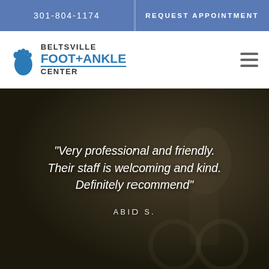301-804-1174 | REQUEST APPOINTMENT
[Figure (logo): Beltsville Foot + Ankle Center logo with blue foot icon]
[Figure (photo): Man standing with a bicycle outdoors, viewed from behind, with a dark overlay. Quote text overlaid: "Very professional and friendly. Their staff is welcoming and kind. Definitely recommend" — ABID S.]
"Very professional and friendly. Their staff is welcoming and kind. Definitely recommend"
ABID S.